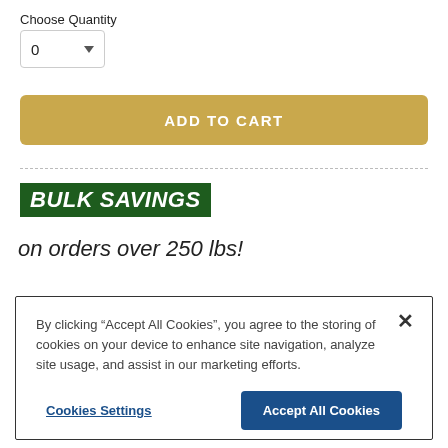Choose Quantity
[Figure (screenshot): Quantity dropdown selector showing value 0 with a downward arrow]
[Figure (screenshot): ADD TO CART button in tan/gold color]
BULK SAVINGS
on orders over 250 lbs!
Ordering a lot of seed? Let us offer you our
By clicking “Accept All Cookies”, you agree to the storing of cookies on your device to enhance site navigation, analyze site usage, and assist in our marketing efforts.
Cookies Settings
Accept All Cookies